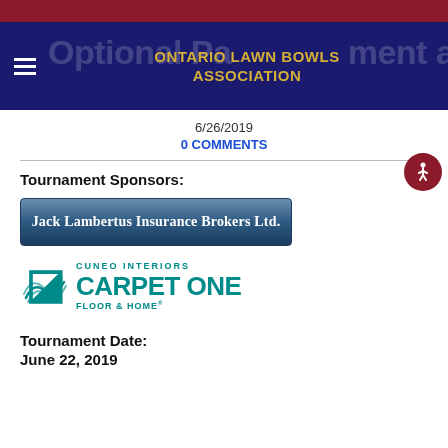ONTARIO LAWN BOWLS ASSOCIATION
6/26/2019
0 COMMENTS
Tournament Sponsors:
[Figure (logo): Jack Lambertus Insurance Brokers Ltd. logo — white bold text on blue gradient background]
[Figure (logo): Cuneo Interiors Carpet One Floor & Home logo — teal text with curved lines icon]
Tournament Date:
June 22, 2019